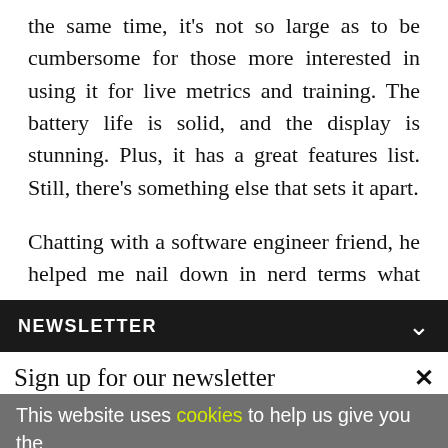the same time, it's not so large as to be cumbersome for those more interested in using it for live metrics and training. The battery life is solid, and the display is stunning. Plus, it has a great features list. Still, there's something else that sets it apart.
Chatting with a software engineer friend, he helped me nail down in nerd terms what other
NEWSLETTER
Sign up for our newsletter
This website uses cookies to help us give you the best experience when you visit our website. By continuing to use this website, you consent to our use of these cookies.